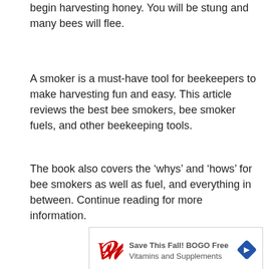begin harvesting honey. You will be stung and many bees will flee.
A smoker is a must-have tool for beekeepers to make harvesting fun and easy. This article reviews the best bee smokers, bee smoker fuels, and other beekeeping tools.
The book also covers the ‘whys’ and ‘hows’ for bee smokers as well as fuel, and everything in between. Continue reading for more information.
[Figure (infographic): Walgreens advertisement: Save This Fall! BOGO Free Vitamins and Supplements, with Walgreens cursive logo and a blue diamond navigation icon.]